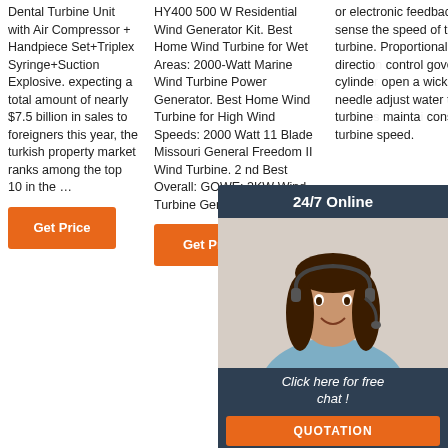Dental Turbine Unit with Air Compressor + Handpiece Set+Triplex Syringe+Suction Explosive. expecting a total amount of nearly $7.5 billion in sales to foreigners this year, the turkish property market ranks among the top 10 in the …
HY400 500 W Residential Wind Generator Kit. Best Home Wind Turbine for Wet Areas: 2000-Watt Marine Wind Turbine Power Generator. Best Home Wind Turbine for High Wind Speeds: 2000 Watt 11 Blade Missouri General Freedom II Wind Turbine. 2 nd Best Overall: GOWE: 3KW Wind Turbine Generator.
or electronic feedback to sense the speed of the turbine. Proportional or directional control governing cylinder open a wicket needle adjust water turbine maintain constant turbine speed.
[Figure (other): 24/7 Online chat widget with a woman wearing a headset. Contains 'Click here for free chat !' text and a QUOTATION button in orange.]
[Figure (other): TOP arrow icon in orange dots/triangles pointing upward with text TOP]
Get Price
Get Price
Get Price (partially visible)